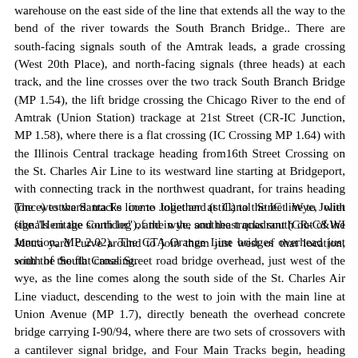warehouse on the east side of the line that extends all the way to the bend of the river towards the South Branch Bridge.. There are south-facing signals south of the Amtrak leads, a grade crossing (West 20th Place), and north-facing signals (three heads) at each track, and the line crosses over the two track South Branch Bridge (MP 1.54), the lift bridge crossing the Chicago River to the end of Amtrak (Union Station) trackage at 21st Street (CR-IC Junction, MP 1.58), where there is a flat crossing (IC Crossing MP 1.64) with the Illinois Central trackage heading from16th Street Crossing on the St. Charles Air Line to its westward line starting at Bridgeport, with connecting track in the northwest quadrant, for trains heading (once) to the Santa Fe line to Joliet and (still) to the IC line to Joliet (the "Heritage Corridor"), and in the southeast quadrant (CR-C&WI Junction, MP 2.02). The CTA Orange Line bridges overhead just south of the flat crossing.
The westward tracks come together at Canal Street Wye, with signals on the south leg of the wye, and the tracks south out of the Metra yard curve around to join them just west of that location, with the South Canal Street road bridge overhead, just west of the wye, as the line comes along the south side of the St. Charles Air Line viaduct, descending to the west to join with the main line at Union Avenue (MP 1.7), directly beneath the overhead concrete bridge carrying I-90/94, where there are two sets of crossovers with a cantilever signal bridge, and Four Main Tracks begin, heading westward. South Union Avenue passes beneath